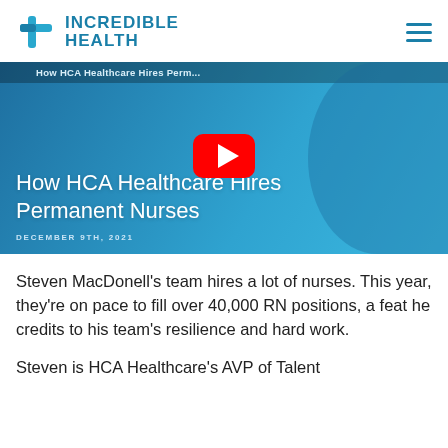[Figure (logo): Incredible Health logo with blue cross icon and text INCREDIBLE HEALTH]
[Figure (screenshot): YouTube video thumbnail: 'How HCA Healthcare Hires Permanent Nurses' with play button, dated DECEMBER 9TH, 2021, blue overlay with nurse in background]
Steven MacDonell's team hires a lot of nurses. This year, they're on pace to fill over 40,000 RN positions, a feat he credits to his team's resilience and hard work.
Steven is HCA Healthcare's AVP of Talent